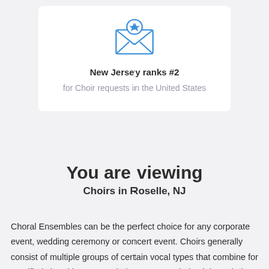[Figure (illustration): Blue outline icon of an open envelope with a star badge on a letter inside]
New Jersey ranks #2
for Choir requests in the United States
You are viewing
Choirs in Roselle, NJ
Choral Ensembles can be the perfect choice for any corporate event, wedding ceremony or concert event. Choirs generally consist of multiple groups of certain vocal types that combine for a unified choral harmony. Choirs were popularized through the